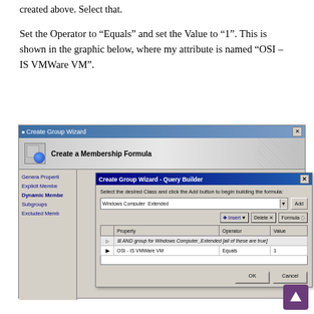created above. Select that.
Set the Operator to “Equals” and set the Value to “1”. This is shown in the graphic below, where my attribute is named “OSI – IS VMWare VM”.
[Figure (screenshot): Create Group Wizard window showing Create a Membership Formula dialog, with a Query Builder sub-dialog. The Query Builder shows a dropdown set to 'Windows Computer_Extended', and a grid with columns Property, Operator, Value. A row shows AND group for Windows Computer_Extended [all of these are true], and below it a row with OSI - IS VMWare VM | Equals | 1. Buttons: Insert, Delete, Formula, Add, OK, Cancel.]